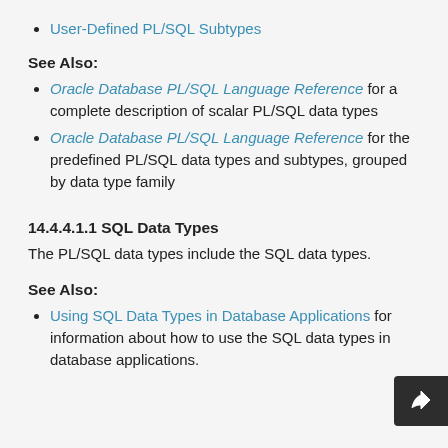User-Defined PL/SQL Subtypes
See Also:
Oracle Database PL/SQL Language Reference for a complete description of scalar PL/SQL data types
Oracle Database PL/SQL Language Reference for the predefined PL/SQL data types and subtypes, grouped by data type family
14.4.4.1.1 SQL Data Types
The PL/SQL data types include the SQL data types.
See Also:
Using SQL Data Types in Database Applications for information about how to use the SQL data types in database applications.